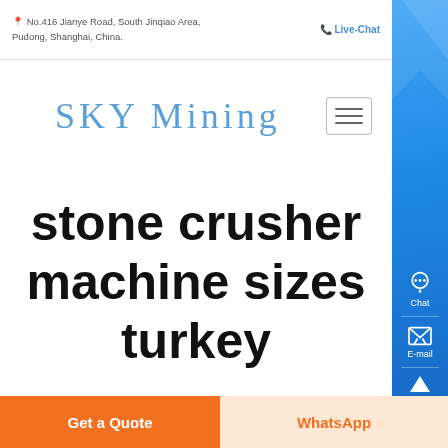📍 No.416 Jianye Road, South Jinqiao Area, Pudong, Shanghai, China.  📞 Live-Chat
[Figure (logo): SKY Mining logo in blue serif font with hamburger menu button]
stone crusher machine sizes turkey
Get a Quote  |  WhatsApp